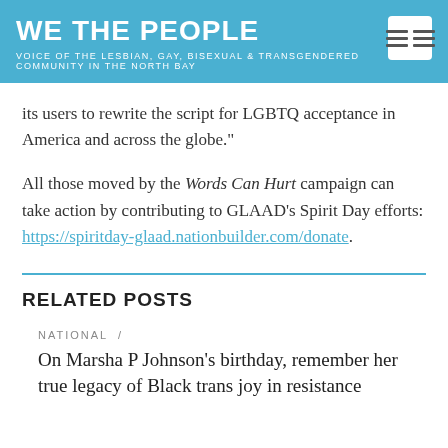WE THE PEOPLE
VOICE OF THE LESBIAN, GAY, BISEXUAL & TRANSGENDERED COMMUNITY IN THE NORTH BAY
its users to rewrite the script for LGBTQ acceptance in America and across the globe."
All those moved by the Words Can Hurt campaign can take action by contributing to GLAAD's Spirit Day efforts: https://spiritday-glaad.nationbuilder.com/donate.
RELATED POSTS
NATIONAL /
On Marsha P Johnson's birthday, remember her true legacy of Black trans joy in resistance